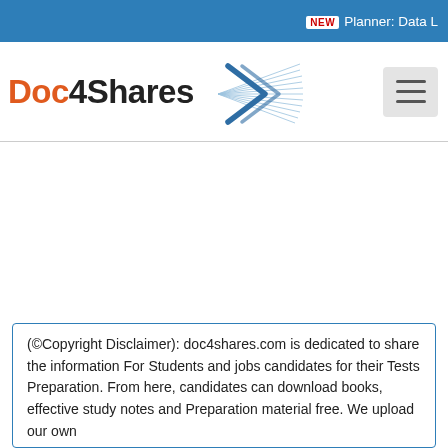NEW Planner: Data L
[Figure (logo): Doc4Shares logo with stylized starburst/arrow graphic. 'Doc' in orange-red, '4Shares' in dark gray, followed by a blue/gray starburst arrow motif.]
(©Copyright Disclaimer): doc4shares.com is dedicated to share the information For Students and jobs candidates for their Tests Preparation. From here, candidates can download books, effective study notes and Preparation material free. We upload our own